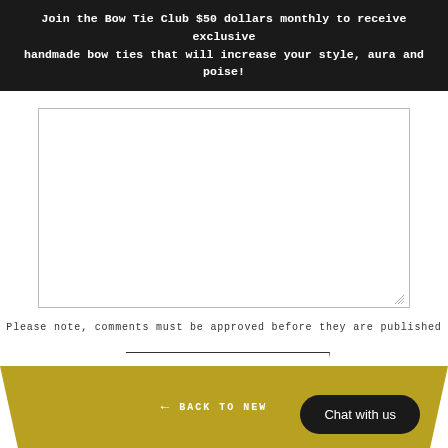Join the Bow Tie Club $50 dollars monthly to receive exclusive handmade bow ties that will increase your style, aura and poise!
Please note, comments must be approved before they are published
POST COMMENT
← BACK TO NEWS